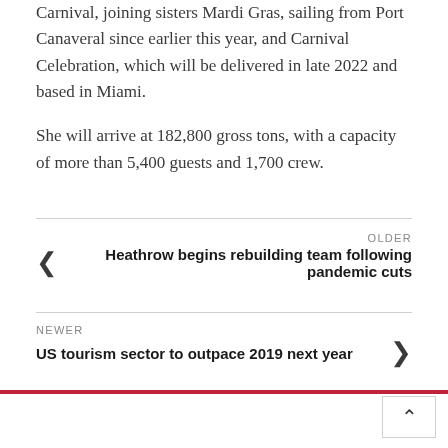Carnival, joining sisters Mardi Gras, sailing from Port Canaveral since earlier this year, and Carnival Celebration, which will be delivered in late 2022 and based in Miami.
She will arrive at 182,800 gross tons, with a capacity of more than 5,400 guests and 1,700 crew.
OLDER
‹ Heathrow begins rebuilding team following pandemic cuts
NEWER
US tourism sector to outpace 2019 next year ›